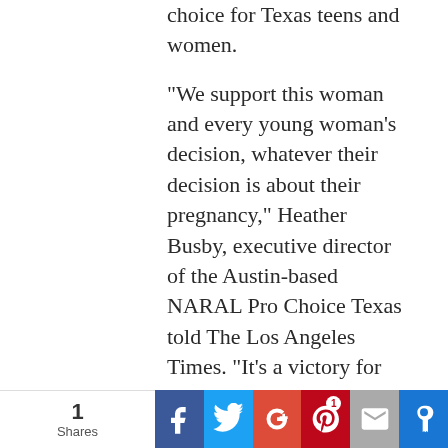choice for Texas teens and women.

“We support this woman and every young woman’s decision, whatever their decision is about their pregnancy,” Heather Busby, executive director of the Austin-based NARAL Pro Choice Texas told The Los Angeles Times. “It’s a victory for women’s reproductive health. It confirms that women should have the ability to determine what happens to their bodies and what happens with a pregnancy, no matter what the
1 Shares | Facebook | Twitter | G+ | Pinterest 1 | Email | Bookmark